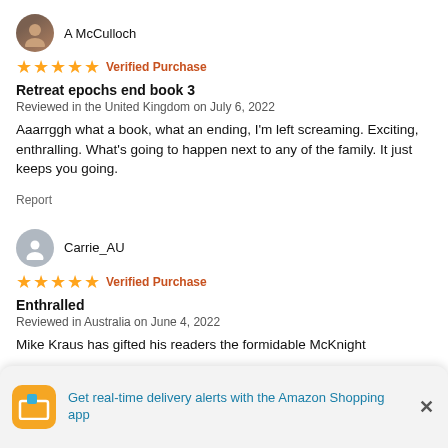A McCulloch
★★★★★ Verified Purchase
Retreat epochs end book 3
Reviewed in the United Kingdom on July 6, 2022
Aaarrggh what a book, what an ending, I'm left screaming. Exciting, enthralling. What's going to happen next to any of the family. It just keeps you going.
Report
Carrie_AU
★★★★★ Verified Purchase
Enthralled
Reviewed in Australia on June 4, 2022
Mike Kraus has gifted his readers the formidable McKnight
Get real-time delivery alerts with the Amazon Shopping app